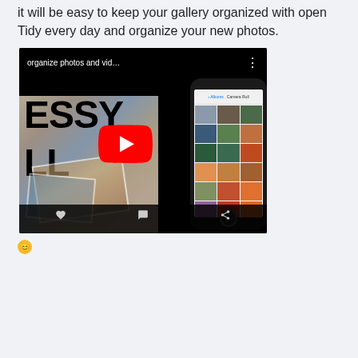it will be easy to keep your gallery organized with open Tidy every day and organize your new photos.
[Figure (screenshot): YouTube video thumbnail embedded in what appears to be a Facebook post. The video thumbnail shows a black top bar with title 'organize photos and vid…' and three-dot menu. The main image shows blurred photos in background with large bold text 'ESSY' and 'LL' on left side, and a smartphone showing a Camera Roll photo grid on the right. A red YouTube play button is centered over the image. A black bottom bar appears below the video.]